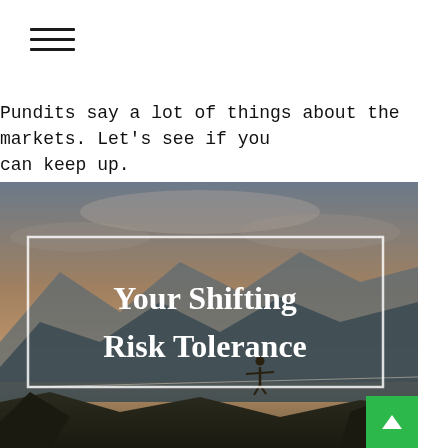[Figure (other): Hamburger menu icon with three horizontal lines]
Pundits say a lot of things about the markets. Let's see if you can keep up.
[Figure (photo): Hero image with a person walking a tightrope over a mountainous landscape at dusk/sunset, with a white-bordered box overlay containing the title 'Your Shifting Risk Tolerance' in white serif bold text.]